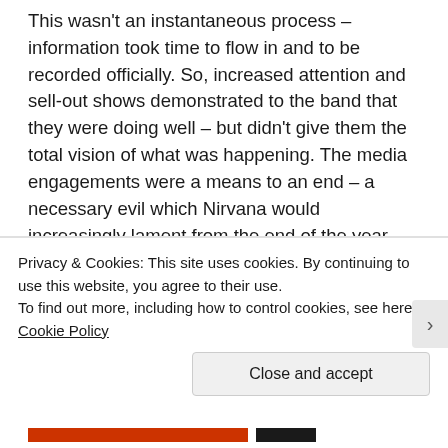This wasn't an instantaneous process – information took time to flow in and to be recorded officially. So, increased attention and sell-out shows demonstrated to the band that they were doing well – but didn't give them the total vision of what was happening. The media engagements were a means to an end – a necessary evil which Nirvana would increasingly lament from the end of the year onward. Cobain was already starting to turn down interviews by the time they left Europe. The interviews of September/October were mainly only visible as magazine covers and TV broadcasts in November – there was a delay in the band's actions becoming omnipresent imagery.
Privacy & Cookies: This site uses cookies. By continuing to use this website, you agree to their use.
To find out more, including how to control cookies, see here: Cookie Policy
Close and accept